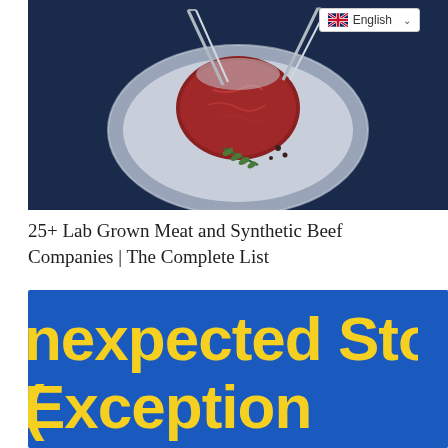[Figure (photo): A raw beef filet/tenderloin steak on a glass plate with tongs holding it and a sprig of rosemary, photographed from above in a dark blue-toned setting. A UK flag and English language selector badge overlays the top-right corner.]
25+ Lab Grown Meat and Synthetic Beef Companies | The Complete List
[Figure (photo): A blue background image with large bold yellow text reading 'Unexpected Stor Exception' (partially cropped on the right and bottom).]